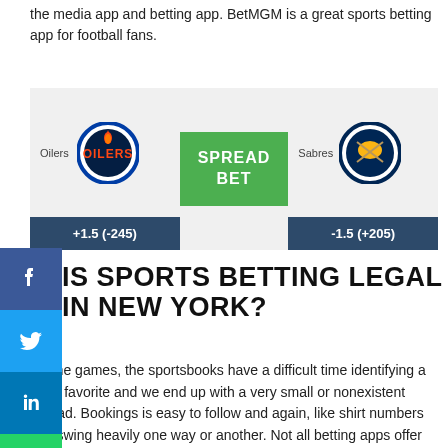the media app and betting app. BetMGM is a great sports betting app for football fans.
[Figure (infographic): Sports betting widget showing Oilers vs Sabres spread bet. Oilers +1.5 (-245), Spread Bet button in green, Sabres -1.5 (+205).]
IS SPORTS BETTING LEGAL IN NEW YORK?
...some games, the sportsbooks have a difficult time identifying a clear favorite and we end up with a very small or nonexistent spread. Bookings is easy to follow and again, like shirt numbers can swing heavily one way or another. Not all betting apps offer these niche sports, but there are a few out there with an exceptional selection. We noticed you're from na... ...and again, betting is not always available. Full...